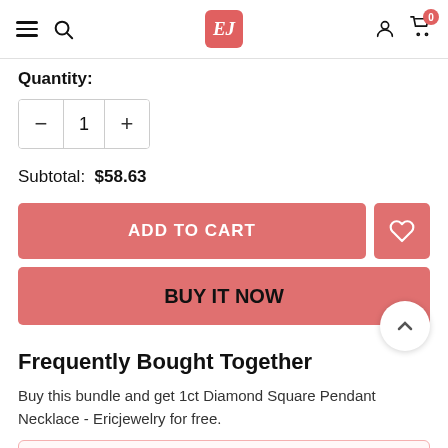EJ store navigation header with hamburger menu, search, logo, account, and cart (0 items)
Quantity:
[Figure (other): Quantity selector control with minus button, value 1, and plus button]
Subtotal: $58.63
[Figure (other): ADD TO CART button (salmon/coral color) and heart/wishlist button]
[Figure (other): BUY IT NOW button (salmon/coral color) with scroll-to-top chevron button]
Frequently Bought Together
Buy this bundle and get 1ct Diamond Square Pendant Necklace - Ericjewelry for free.